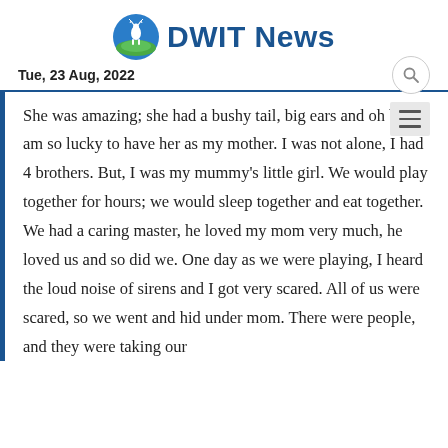DWIT News
Tue, 23 Aug, 2022
She was amazing; she had a bushy tail, big ears and oh boy, I am so lucky to have her as my mother. I was not alone, I had 4 brothers. But, I was my mummy's little girl. We would play together for hours; we would sleep together and eat together. We had a caring master, he loved my mom very much, he loved us and so did we. One day as we were playing, I heard the loud noise of sirens and I got very scared. All of us were scared, so we went and hid under mom. There were people, and they were taking our